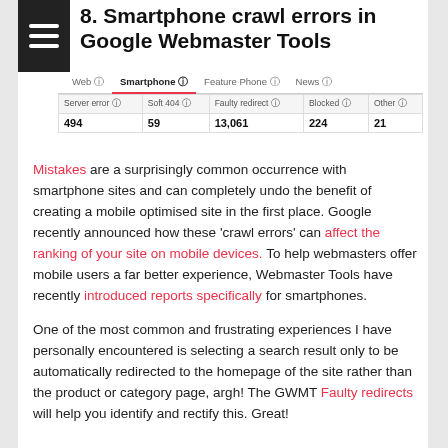8. Smartphone crawl errors in Google Webmaster Tools
[Figure (screenshot): Screenshot of Google Webmaster Tools showing Smartphone tab selected with crawl error counts: Server error 494, Soft 404 59, Faulty redirect 13,061, Blocked 224, Other 21]
Mistakes are a surprisingly common occurrence with smartphone sites and can completely undo the benefit of creating a mobile optimised site in the first place. Google recently announced how these 'crawl errors' can affect the ranking of your site on mobile devices. To help webmasters offer mobile users a far better experience, Webmaster Tools have recently introduced reports specifically for smartphones.
One of the most common and frustrating experiences I have personally encountered is selecting a search result only to be automatically redirected to the homepage of the site rather than the product or category page, argh! The GWMT Faulty redirects will help you identify and rectify this. Great!